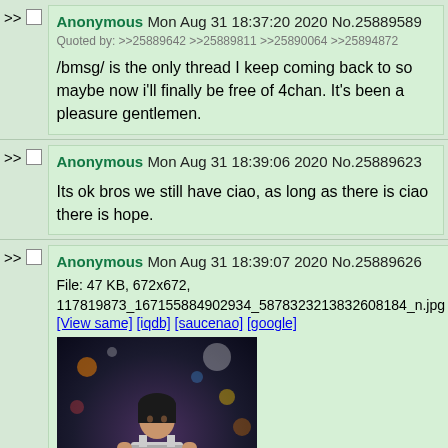Anonymous Mon Aug 31 18:37:20 2020 No.25889589
Quoted by: >>25889642 >>25889811 >>25890064 >>25894872

/bmsg/ is the only thread I keep coming back to so maybe now i'll finally be free of 4chan. It's been a pleasure gentlemen.
Anonymous Mon Aug 31 18:39:06 2020 No.25889623

Its ok bros we still have ciao, as long as there is ciao there is hope.
Anonymous Mon Aug 31 18:39:07 2020 No.25889626
File: 47 KB, 672x672, 117819873_167155884902934_5878323213832608184_n.jpg
[View same] [iqdb] [saucenao] [google]
[Figure (photo): A young woman in a striped dress standing in what appears to be a dimly lit venue with bokeh lights in the background. Other people visible behind her.]
Anonymous Mon Aug 31 18:40:00 2020 No.25889642